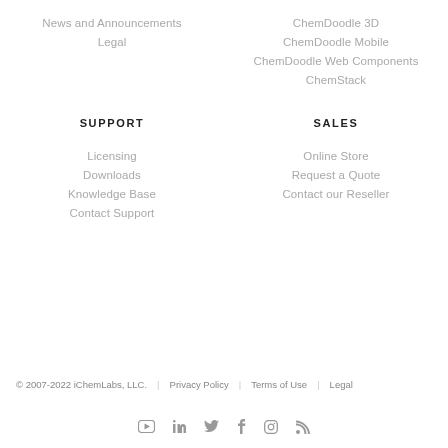News and Announcements
Legal
ChemDoodle 3D
ChemDoodle Mobile
ChemDoodle Web Components
ChemStack
SUPPORT
SALES
Licensing
Online Store
Downloads
Request a Quote
Knowledge Base
Contact our Reseller
Contact Support
© 2007-2022 iChemLabs, LLC.   Privacy Policy   Terms of Use   Legal